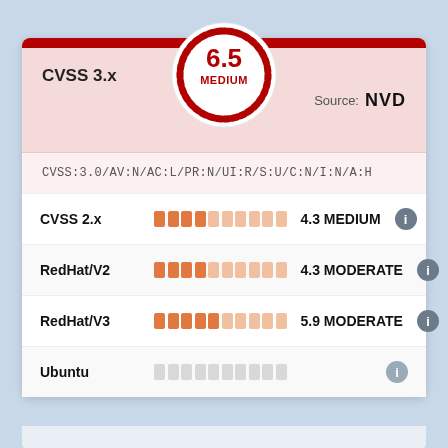[Figure (infographic): CVSS score gauge circle showing 6.5 MEDIUM rating with dashed red border]
CVSS 3.x
Source: NVD
CVSS:3.0/AV:N/AC:L/PR:N/UI:R/S:U/C:N/I:N/A:H
| Source | Score bar | Score | Info |
| --- | --- | --- | --- |
| CVSS 2.x | [bar] | 4.3 MEDIUM | i |
| RedHat/V2 | [bar] | 4.3 MODERATE | i |
| RedHat/V3 | [bar] | 5.9 MODERATE | i |
| Ubuntu | [grey bar] |  | i |